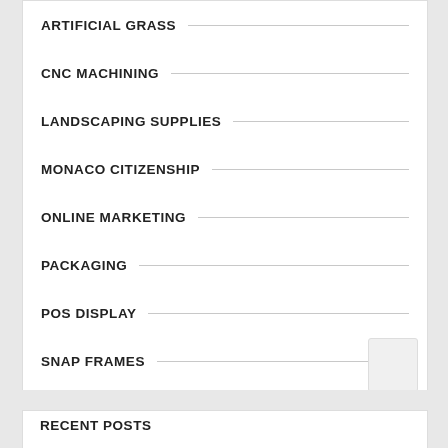ARTIFICIAL GRASS
CNC MACHINING
LANDSCAPING SUPPLIES
MONACO CITIZENSHIP
ONLINE MARKETING
PACKAGING
POS DISPLAY
SNAP FRAMES
WEB DESIGN
RECENT POSTS